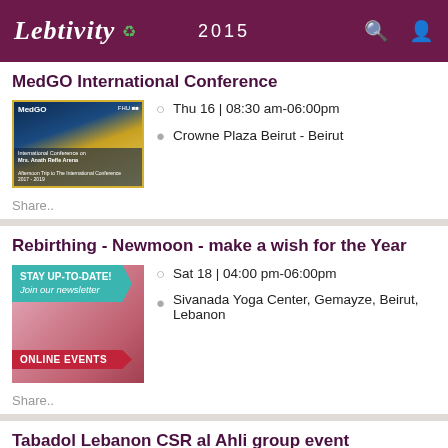Lebtivity 2015
MedGO International Conference
Thu 16 | 08:30 am-06:00pm
Crowne Plaza Beirut - Beirut
Share..
Rebirthing - Newmoon - make a wish for the Year
STAY UP-TO-DATE! Join our newsletter
ONLINE EVENTS
Sat 18 | 04:00 pm-06:00pm
Sivanada Yoga Center, Gemayze, Beirut, Lebanon
Share..
Tabadol Lebanon CSR al Ahli group event